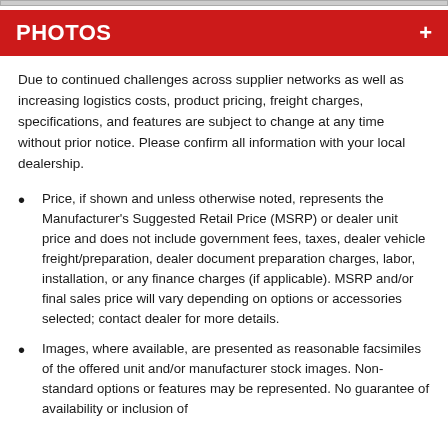PHOTOS
Due to continued challenges across supplier networks as well as increasing logistics costs, product pricing, freight charges, specifications, and features are subject to change at any time without prior notice. Please confirm all information with your local dealership.
Price, if shown and unless otherwise noted, represents the Manufacturer's Suggested Retail Price (MSRP) or dealer unit price and does not include government fees, taxes, dealer vehicle freight/preparation, dealer document preparation charges, labor, installation, or any finance charges (if applicable). MSRP and/or final sales price will vary depending on options or accessories selected; contact dealer for more details.
Images, where available, are presented as reasonable facsimiles of the offered unit and/or manufacturer stock images. Non-standard options or features may be represented. No guarantee of availability or inclusion of